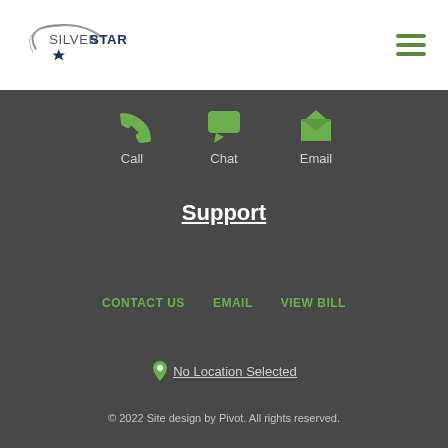[Figure (logo): Silver Star logo with swoosh arc and star, company name in dark navy and bold navy letters]
[Figure (illustration): Hamburger menu icon with three green horizontal lines]
[Figure (illustration): Three green icons: phone (Call), chat bubble (Chat), email/envelope (Email) with labels below]
Support
CONTACT US
EMAIL
VIEW BILL
No Location Selected
© 2022 Site design by Pivot. All rights reserved.